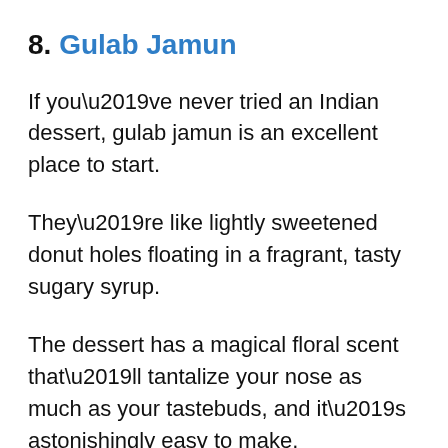8. Gulab Jamun
If you’ve never tried an Indian dessert, gulab jamun is an excellent place to start.
They’re like lightly sweetened donut holes floating in a fragrant, tasty sugary syrup.
The dessert has a magical floral scent that’ll tantalize your nose as much as your tastebuds, and it’s astonishingly easy to make.
You can make over a dozen in just half an